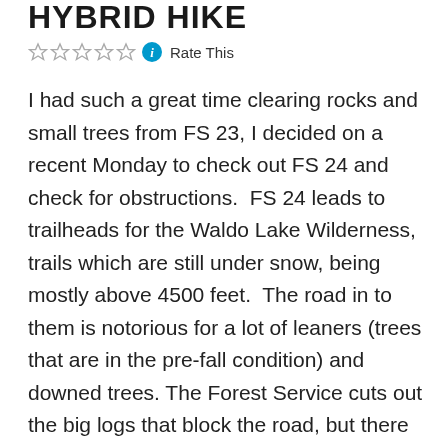HYBRID HIKE
Rate This
I had such a great time clearing rocks and small trees from FS 23, I decided on a recent Monday to check out FS 24 and check for obstructions.  FS 24 leads to trailheads for the Waldo Lake Wilderness, trails which are still under snow, being mostly above 4500 feet.  The road in to them is notorious for a lot of leaners (trees that are in the pre-fall condition) and downed trees. The Forest Service cuts out the big logs that block the road, but there are a host of smaller trees and other obstructions that scratch the vehicle and are not easy to avoid. If the trees or brush allow passage, even with the high pitched squeak on metal, few want to get out of the vehicle and clear them. In one direction, the trail is calling; in the other direction, people are too tired to get out of the vehicle and do more